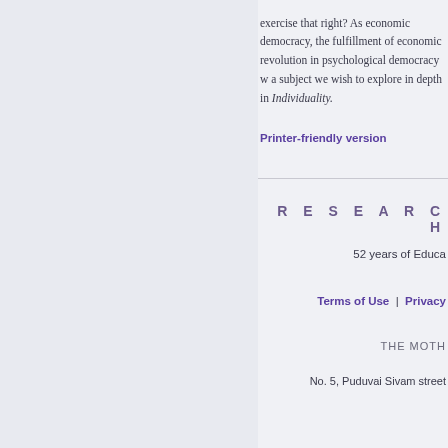exercise that right? As economic democracy, the fulfillment of economic revolution in psychological democracy w a subject we wish to explore in depth in Individuality.
Printer-friendly version
R E S E A R C H
52 years of Educa
Terms of Use  |  Privacy
THE MOTH
No. 5, Puduvai Sivam street